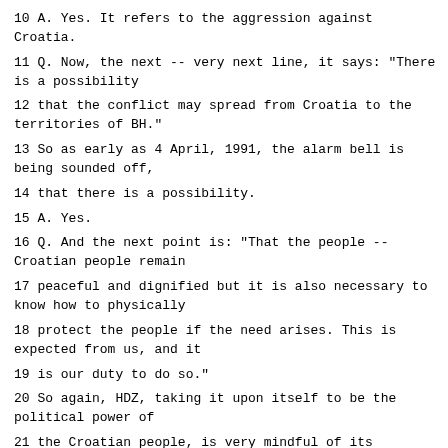10 A. Yes. It refers to the aggression against Croatia.
11 Q. Now, the next -- very next line, it says: "There is a possibility
12 that the conflict may spread from Croatia to the territories of BH."
13 So as early as 4 April, 1991, the alarm bell is being sounded off,
14 that there is a possibility.
15 A. Yes.
16 Q. And the next point is: "That the people -- Croatian people remain
17 peaceful and dignified but it is also necessary to know how to physically
18 protect the people if the need arises. This is expected from us, and it
19 is our duty to do so."
20 So again, HDZ, taking it upon itself to be the political power of
21 the Croatian people, is very mindful of its responsibility and the